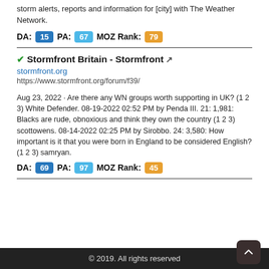Find the most current and reliable 7-day weather forecasts, storm alerts, reports and information for [city] with The Weather Network.
DA: 15  PA: 67  MOZ Rank: 79
Stormfront Britain - Stormfront
stormfront.org
https://www.stormfront.org/forum/f39/
Aug 23, 2022 · Are there any WN groups worth supporting in UK? (1 2 3) White Defender. 08-19-2022 02:52 PM by Penda III. 21: 1,981: Blacks are rude, obnoxious and think they own the country (1 2 3) scottowens. 08-14-2022 02:25 PM by Sirobbo. 24: 3,580: How important is it that you were born in England to be considered English? (1 2 3) samryan.
DA: 69  PA: 97  MOZ Rank: 45
© 2019. All rights reserved